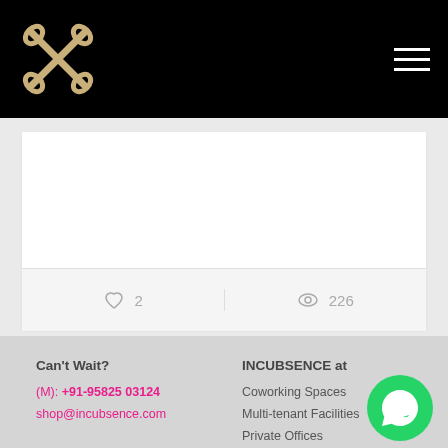INCUBSENCE logo and navigation
[Figure (screenshot): Card section with white card, light grey background, like count 2 and view count 226]
♡ 2
◉ 226
Can't Wait?
(M): +91-95825 03124
shop@incubsence.com
INCUBSENCE at
Coworking Spaces
Multi-tenant Facilities
Private Offices
Universities